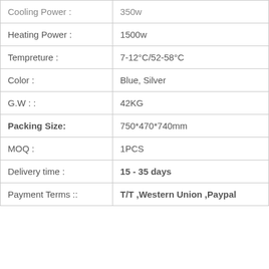| Cooling Power : | 350w |
| Heating Power : | 1500w |
| Tempreture : | 7-12°C/52-58°C |
| Color : | Blue,  Silver |
| G.W : : | 42KG |
| Packing Size: | 750*470*740mm |
| MOQ : | 1PCS |
| Delivery time : | 15 - 35 days |
| Payment Terms :: | T/T ,Western Union ,Paypal |